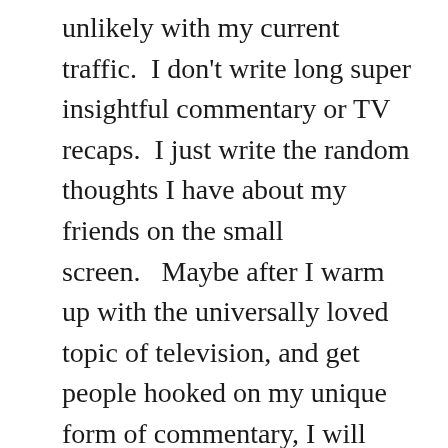unlikely with my current traffic.  I don't write long super insightful commentary or TV recaps.  I just write the random thoughts I have about my friends on the small screen.   Maybe after I warm up with the universally loved topic of television, and get people hooked on my unique form of commentary, I will branch out more.   It also just depends on what inspires me and formulates itself as a blog post in my mind.  Right now, it is TV, but it seems possible that I could  run out of witty things to say about the imaginary people.  Only time will tell.  I do have a unique ability to tie pretty much every life experience to television so that might be a good way to ease in to it.  I am really trying to cut back on the TV and I can tell you